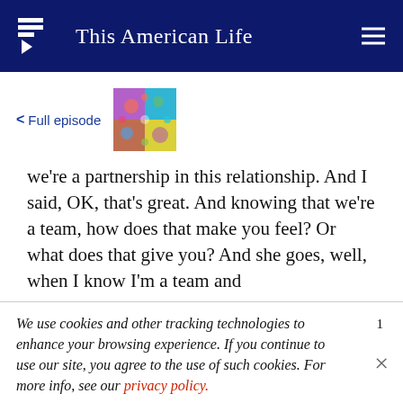This American Life
< Full episode
[Figure (photo): Colorful episode thumbnail image with bright multicolored pattern]
we're a partnership in this relationship. And I said, OK, that's great. And knowing that we're a team, how does that make you feel? Or what does that give you? And she goes, well, when I know I'm a team and
We use cookies and other tracking technologies to enhance your browsing experience. If you continue to use our site, you agree to the use of such cookies. For more info, see our privacy policy.
strong relationship.